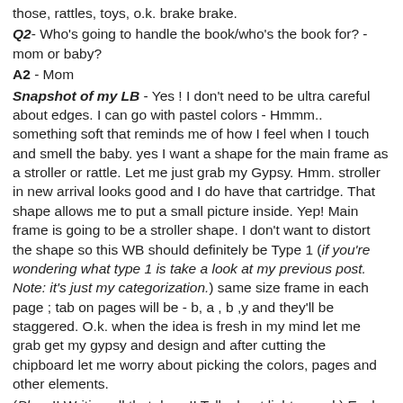those, rattles, toys, o.k. brake brake.
Q2- Who's going to handle the book/who's the book for? - mom or baby?
A2 - Mom
Snapshot of my LB - Yes ! I don't need to be ultra careful about edges. I can go with pastel colors - Hmmm.. something soft that reminds me of how I feel when I touch and smell the baby. yes I want a shape for the main frame as a stroller or rattle. Let me just grab my Gypsy. Hmm. stroller in new arrival looks good and I do have that cartridge. That shape allows me to put a small picture inside. Yep! Main frame is going to be a stroller shape. I don't want to distort the shape so this WB should definitely be Type 1 (if you're wondering what type 1 is take a look at my previous post. Note: it's just my categorization.) same size frame in each page ; tab on pages will be - b, a , b ,y and they'll be staggered. O.k. when the idea is fresh in my mind let me grab get my gypsy and design and after cutting the chipboard let me worry about picking the colors, pages and other elements.
(Phew!! Writing all that down!! Talk about light speed.) Each question and answer is a clue which brings us one step